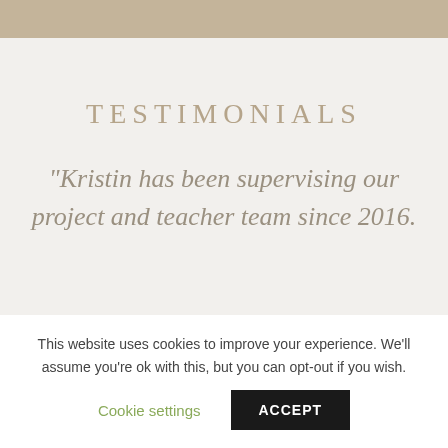TESTIMONIALS
"Kristin has been supervising our project and teacher team since 2016.
This website uses cookies to improve your experience. We'll assume you're ok with this, but you can opt-out if you wish.
Cookie settings   ACCEPT